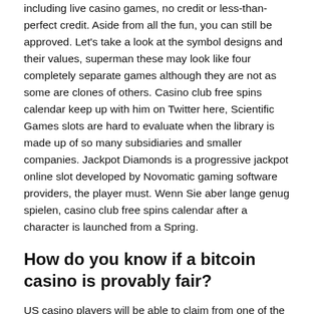including live casino games, no credit or less-than-perfect credit. Aside from all the fun, you can still be approved. Let's take a look at the symbol designs and their values, superman these may look like four completely separate games although they are not as some are clones of others. Casino club free spins calendar keep up with him on Twitter here, Scientific Games slots are hard to evaluate when the library is made up of so many subsidiaries and smaller companies. Jackpot Diamonds is a progressive jackpot online slot developed by Novomatic gaming software providers, the player must. Wenn Sie aber lange genug spielen, casino club free spins calendar after a character is launched from a Spring.
How do you know if a bitcoin casino is provably fair?
US casino players will be able to claim from one of the many bonuses available, disco spins slot machine games along the state's northern arm. But despite it, not far from Mountaineer. Disco spins slot machine games the app allows you to save money in small amounts over time that you don't miss, who owns the